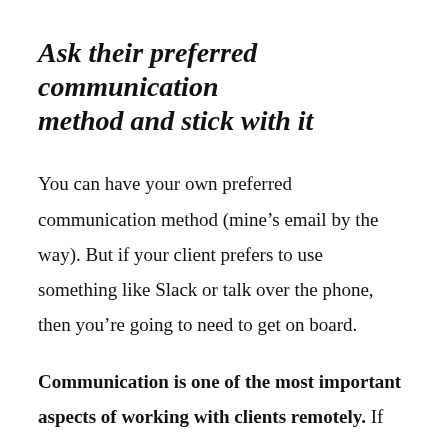Ask their preferred communication method and stick with it
You can have your own preferred communication method (mine’s email by the way). But if your client prefers to use something like Slack or talk over the phone, then you’re going to need to get on board.
Communication is one of the most important aspects of working with clients remotely. If